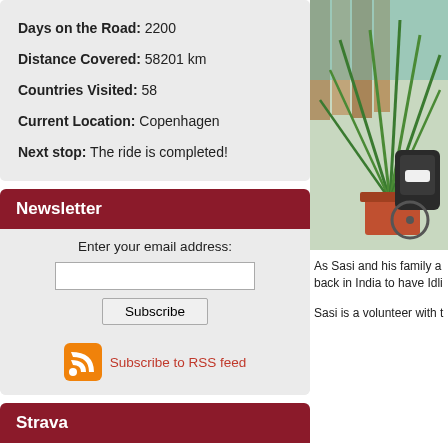Days on the Road: 2200
Distance Covered: 58201 km
Countries Visited: 58
Current Location: Copenhagen
Next stop: The ride is completed!
Newsletter
Enter your email address:
Subscribe
Subscribe to RSS feed
Strava
Thomas's Activity
[Figure (photo): Photo of a bicycle with luggage bags next to a plant in a garden setting]
As Sasi and his family a back in India to have Idli
Sasi is a volunteer with t